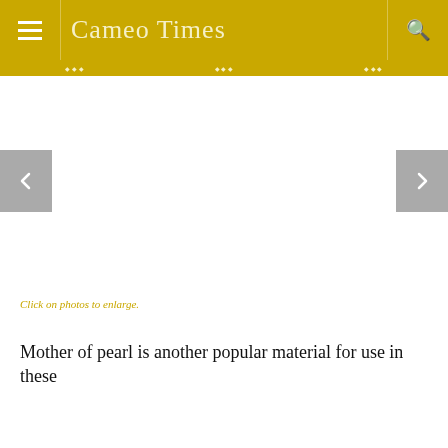Cameo Times
[Figure (screenshot): Image slideshow area with left and right navigation arrows on grey buttons; center area is white/blank (image not loaded)]
Click on photos to enlarge.
Mother of pearl is another popular material for use in these